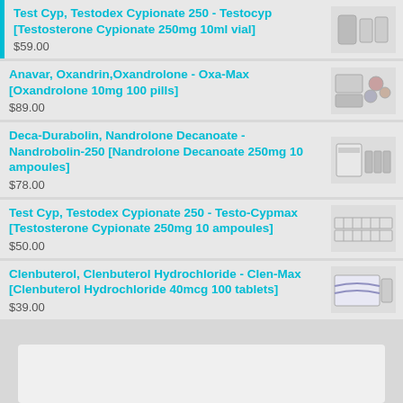Test Cyp, Testodex Cypionate 250 - Testocyp [Testosterone Cypionate 250mg 10ml vial]
$59.00
Anavar, Oxandrin,Oxandrolone - Oxa-Max [Oxandrolone 10mg 100 pills]
$89.00
Deca-Durabolin, Nandrolone Decanoate - Nandrobolin-250 [Nandrolone Decanoate 250mg 10 ampoules]
$78.00
Test Cyp, Testodex Cypionate 250 - Testo-Cypmax [Testosterone Cypionate 250mg 10 ampoules]
$50.00
Clenbuterol, Clenbuterol Hydrochloride - Clen-Max [Clenbuterol Hydrochloride 40mcg 100 tablets]
$39.00